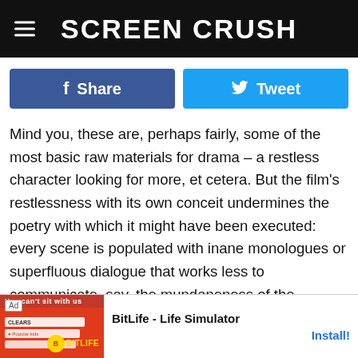Screen Crush
[Figure (infographic): Facebook Share button and Twitter Tweet button side by side]
Mind you, these are, perhaps fairly, some of the most basic raw materials for drama – a restless character looking for more, et cetera. But the film's restlessness with its own conceit undermines the poetry with which it might have been executed: every scene is populated with inane monologues or superfluous dialogue that works less to communicate, say, the mundaneness of the characters' jobs than the fear of audience boredom if an act of the film, much less a single scene, unfolded without any dialogue. Moreover, Cruise's expository introduction to the film is repeated almost verbati... ...ely unnece... ...ions"
[Figure (screenshot): BitLife - Life Simulator advertisement banner at the bottom of the page]